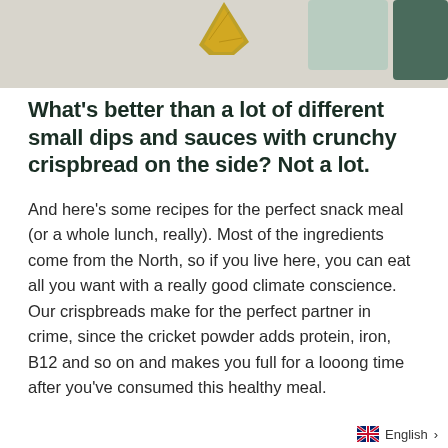[Figure (photo): Top portion of a photo showing various dips, sauces, and crispbreads on a marble surface. Visible items include a golden/yellow cracker or crispbread piece at top center, a mint/sage green rectangular card or mat, and a dark teal/green card on the far right, all on a light marble or stone background.]
What's better than a lot of different small dips and sauces with crunchy crispbread on the side? Not a lot.
And here's some recipes for the perfect snack meal (or a whole lunch, really). Most of the ingredients come from the North, so if you live here, you can eat all you want with a really good climate conscience. Our crispbreads make for the perfect partner in crime, since the cricket powder adds protein, iron, B12 and so on and makes you full for a looong time after you've consumed this healthy meal.
English